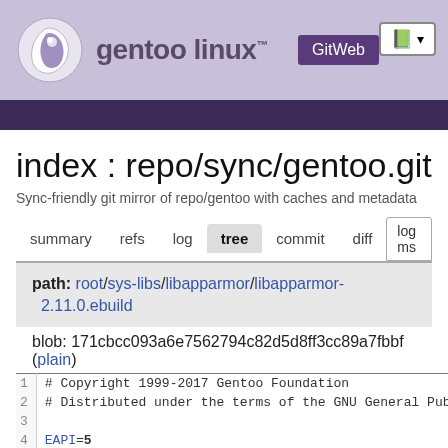[Figure (screenshot): Gentoo Linux GitWeb header with logo, GitWeb button, and navigation icon]
index : repo/sync/gentoo.git
Sync-friendly git mirror of repo/gentoo with caches and metadata
summary  refs  log  tree  commit  diff  log ms
path: root/sys-libs/libapparmor/libapparmor-2.11.0.ebuild
blob: 171cbcc093a6e7562794c82d5d8ff3cc89a7fbbf (plain)
| line | code |
| --- | --- |
| 1 | # Copyright 1999-2017 Gentoo Foundation |
| 2 | # Distributed under the terms of the GNU General Pub |
| 3 |  |
| 4 | EAPI=5 |
| 5 |  |
| 6 | AUTOTOOLS_AUTORECONF=1 |
| 7 | DISTUTILS_OPTIONAL=1 |
| 8 | PYTHON_COMPAT ( python[2_7,3_4] ) |